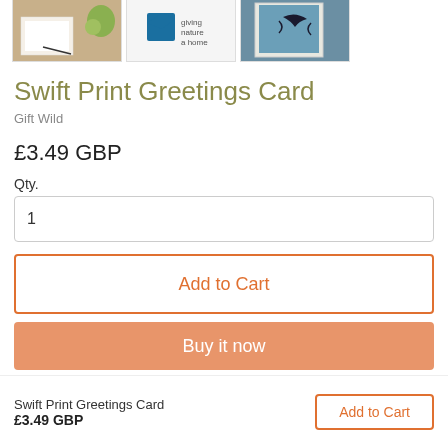[Figure (photo): Three product thumbnail images: a notecard on a desk, an RSPB logo on white background, and a swift bird print greeting card]
Swift Print Greetings Card
Gift Wild
£3.49 GBP
Qty.
1
Add to Cart
Buy it now
Swift Print Greetings Card
£3.49 GBP
Add to Cart